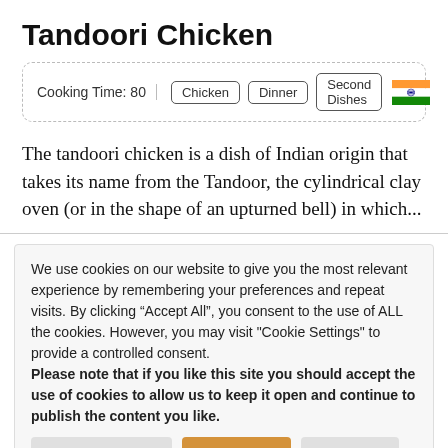Tandoori Chicken
Cooking Time: 80  Chicken  Dinner  Second Dishes
The tandoori chicken is a dish of Indian origin that takes its name from the Tandoor, the cylindrical clay oven (or in the shape of an upturned bell) in which...
We use cookies on our website to give you the most relevant experience by remembering your preferences and repeat visits. By clicking “Accept All”, you consent to the use of ALL the cookies. However, you may visit "Cookie Settings" to provide a controlled consent. Please note that if you like this site you should accept the use of cookies to allow us to keep it open and continue to publish the content you like.